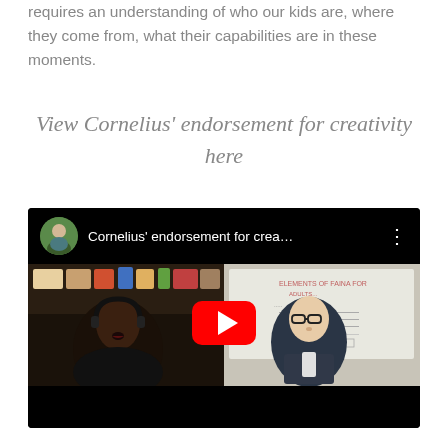requires an understanding of who our kids are, where they come from, what their capabilities are in these moments.
View Cornelius' endorsement for creativity here
[Figure (screenshot): YouTube video thumbnail showing 'Cornelius' endorsement for crea...' with a circular avatar of a man outdoors in the top bar, two people in a split-screen video call below, and a YouTube play button in the center.]